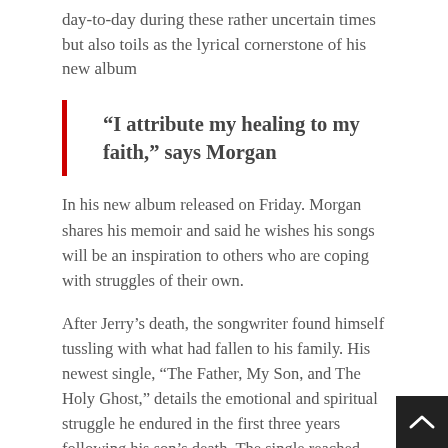day-to-day during these rather uncertain times but also toils as the lyrical cornerstone of his new album
“I attribute my healing to my faith,” says Morgan
In his new album released on Friday. Morgan shares his memoir and said he wishes his songs will be an inspiration to others who are coping with struggles of their own.
After Jerry’s death, the songwriter found himself tussling with what had fallen to his family. His newest single, “The Father, My Son, and The Holy Ghost,” details the emotional and spiritual struggle he endured in the first three years following his son’s death. The single reached No. 1 on every chart on iTunes after its release.
Morgan, served as a deputy sheriff in Tennessee before he became a country music star was also a military veteran.